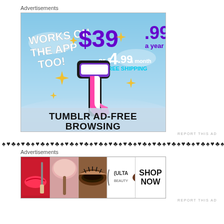Advertisements
[Figure (illustration): Tumblr Ad-Free Browsing advertisement banner. Shows Tumblr 't' logo with sparkle stars, text 'WORKS ON THE APP TOO!', pricing '$39.99 a year or $4.99 a month + FREE SHIPPING', and bottom text 'TUMBLR AD-FREE BROWSING' on a light blue sky background.]
REPORT THIS AD
♠♥♣♠♥♣♠♥♣♠♥♣♠♥♣♠♥♣♠♥♣♠♥♣♠♥♣♠♥♣♠♥♣♠♥♣♠♥♣♠♥♣♠♥♣♠♥
Advertisements
[Figure (photo): Ulta Beauty advertisement strip showing close-up beauty/makeup images: red lips with lipstick brush, powder brush, eye with mascara, Ulta Beauty logo, eye close-up, and SHOP NOW text on white background.]
REPORT THIS AD